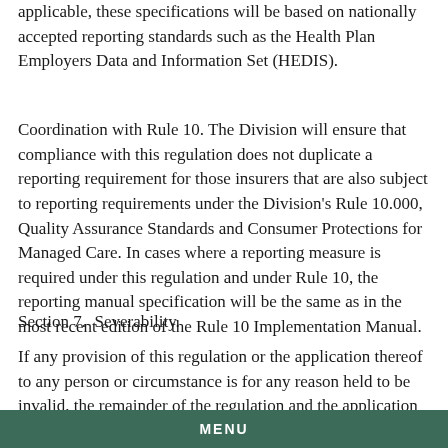applicable, these specifications will be based on nationally accepted reporting standards such as the Health Plan Employers Data and Information Set (HEDIS).
Coordination with Rule 10. The Division will ensure that compliance with this regulation does not duplicate a reporting requirement for those insurers that are also subject to reporting requirements under the Division's Rule 10.000, Quality Assurance Standards and Consumer Protections for Managed Care. In cases where a reporting measure is required under this regulation and under Rule 10, the reporting manual specification will be the same as in the most recent edition of the Rule 10 Implementation Manual.
Section 7.  Severability.
If any provision of this regulation or the application thereof to any person or circumstance is for any reason held to be invalid, the remainder of the regulation and the application of such provision to other persons or circumstances shall not be affected.